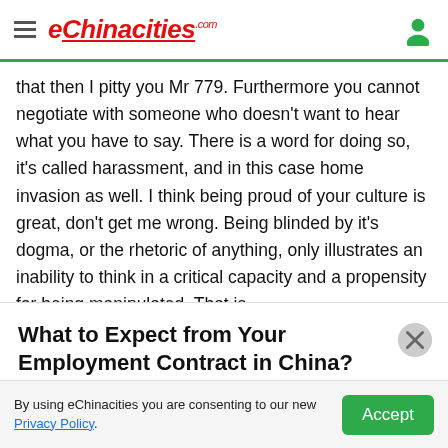eChinacities.com
that then I pitty you Mr 779. Furthermore you cannot negotiate with someone who doesn't want to hear what you have to say. There is a word for doing so, it's called harassment, and in this case home invasion as well. I think being proud of your culture is great, don't get me wrong. Being blinded by it's dogma, or the rhetoric of anything, only illustrates an inability to think in a critical capacity and a propensity for being manipulated. That is
What to Expect from Your Employment Contract in China?
Sign up a free account and receive the free career advice from other expats.
Sign up with Google
By using eChinacities you are consenting to our new Privacy Policy.